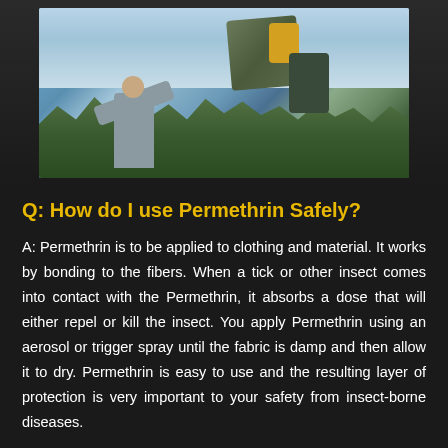[Figure (photo): A person holding up camouflage clothing or gear outdoors, with trees and sky in the background. The person appears to be spraying or treating the clothing with a product.]
Q: How do I use Permethrin Safely?
A: Permethrin is to be applied to clothing and material. It works by bonding to the fibers. When a tick or other insect comes into contact with the Permethrin, it absorbs a dose that will either repel or kill the insect. You apply Permethrin using an aerosol or trigger spray until the fabric is damp and then allow it to dry. Permethrin is easy to use and the resulting layer of protection is very important to your safety from insect-borne diseases.